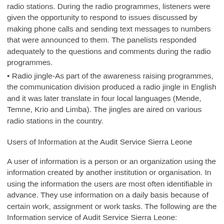radio stations. During the radio programmes, listeners were given the opportunity to respond to issues discussed by making phone calls and sending text messages to numbers that were announced to them. The panelists responded adequately to the questions and comments during the radio programmes.
• Radio jingle-As part of the awareness raising programmes, the communication division produced a radio jingle in English and it was later translate in four local languages (Mende, Temne, Krio and Limba). The jingles are aired on various radio stations in the country.
Users of Information at the Audit Service Sierra Leone
A user of information is a person or an organization using the information created by another institution or organisation. In using the information the users are most often identifiable in advance. They use information on a daily basis because of certain work, assignment or work tasks. The following are the Information service of Audit Service Sierra Leone: